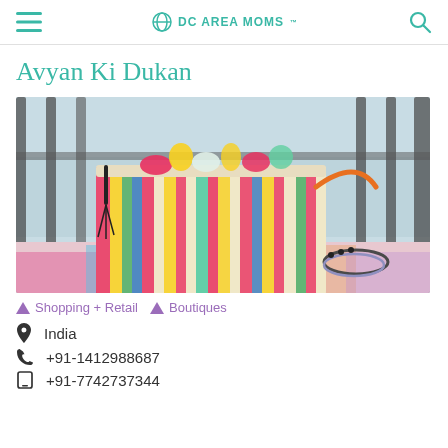DC AREA MOMS
Avyan Ki Dukan
[Figure (photo): Colorful woven straw bag with multicolor fabric strips in red, yellow, green, blue, and other colors, with black tassel handles, placed on a colorful patchwork fabric surface near a window with metal railings and a hazy outdoor view.]
Shopping + Retail
Boutiques
India
+91-1412988687
+91-7742737344